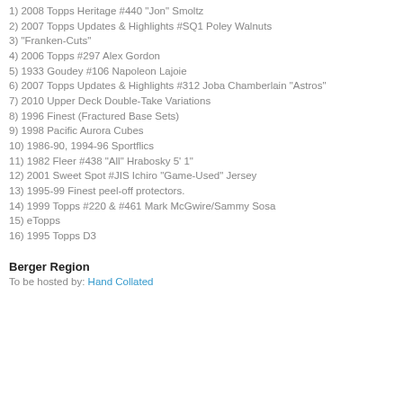1) 2008 Topps Heritage #440 "Jon" Smoltz
2) 2007 Topps Updates & Highlights #SQ1 Poley Walnuts
3) "Franken-Cuts"
4) 2006 Topps #297 Alex Gordon
5) 1933 Goudey #106 Napoleon Lajoie
6) 2007 Topps Updates & Highlights #312 Joba Chamberlain "Astros"
7) 2010 Upper Deck Double-Take Variations
8) 1996 Finest (Fractured Base Sets)
9) 1998 Pacific Aurora Cubes
10) 1986-90, 1994-96 Sportflics
11) 1982 Fleer #438 "All" Hrabosky 5' 1"
12) 2001 Sweet Spot #JIS Ichiro "Game-Used" Jersey
13) 1995-99 Finest peel-off protectors.
14) 1999 Topps #220 & #461 Mark McGwire/Sammy Sosa
15) eTopps
16) 1995 Topps D3
Berger Region
To be hosted by: Hand Collated